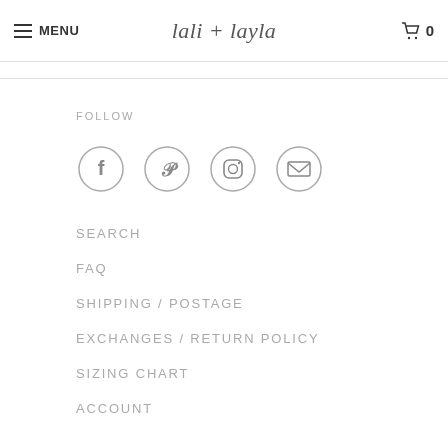MENU  loli + layla  0
FOLLOW
[Figure (illustration): Four social media icons in circles: Facebook, Pinterest, Instagram, Email/envelope]
SEARCH
FAQ
SHIPPING / POSTAGE
EXCHANGES / RETURN POLICY
SIZING CHART
ACCOUNT